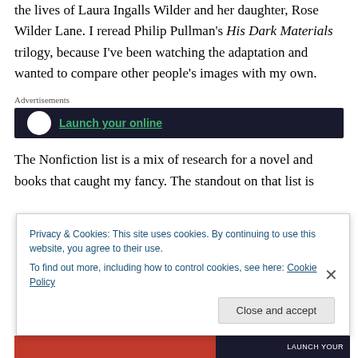the lives of Laura Ingalls Wilder and her daughter, Rose Wilder Lane. I reread Philip Pullman's His Dark Materials trilogy, because I've been watching the adaptation and wanted to compare other people's images with my own.
[Figure (screenshot): Advertisements label with a dark banner ad showing a circular white icon and green underlined text 'Launch your online']
The Nonfiction list is a mix of research for a novel and books that caught my fancy. The standout on that list is
[Figure (screenshot): Cookie consent banner overlay reading: Privacy & Cookies: This site uses cookies. By continuing to use this website, you agree to their use. To find out more, including how to control cookies, see here: Cookie Policy. With a 'Close and accept' button and an X close icon.]